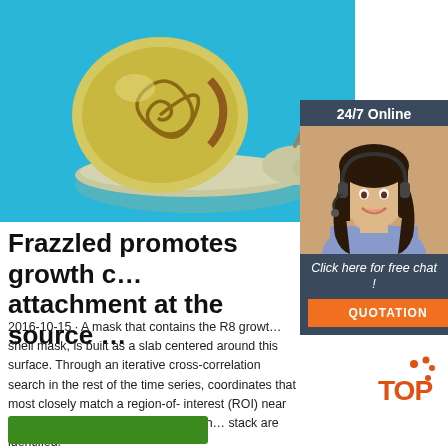[Figure (photo): Close-up photo of a snail with a spiral shell on a bright blue background]
[Figure (photo): 24/7 Online chat widget with a smiling woman wearing a headset, dark background, orange QUOTATION button and italic 'Click here for free chat!' text]
Frazzled promotes growth cone attachment at the source …
2016-10-15 · A mask that contains the R8 growth shell mask, is built as a slab centered around this surface. Through an iterative cross-correlation search in the rest of the time series, coordinates that most closely match a region-of-interest (ROI) near the center of the R8 array in the anchor stack are identified.
[Figure (other): Green button at the bottom of the page]
[Figure (logo): TOP badge logo with orange paw prints]